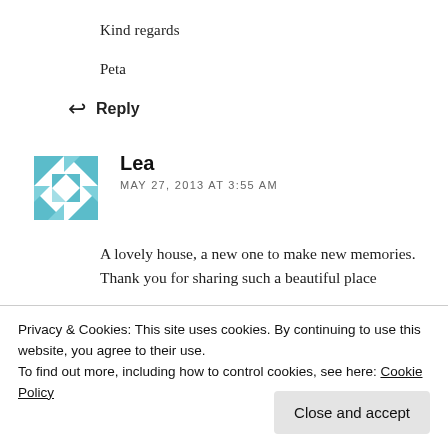Kind regards
Peta
↩ Reply
Lea
MAY 27, 2013 AT 3:55 AM
A lovely house, a new one to make new memories. Thank you for sharing such a beautiful place
Privacy & Cookies: This site uses cookies. By continuing to use this website, you agree to their use.
To find out more, including how to control cookies, see here: Cookie Policy